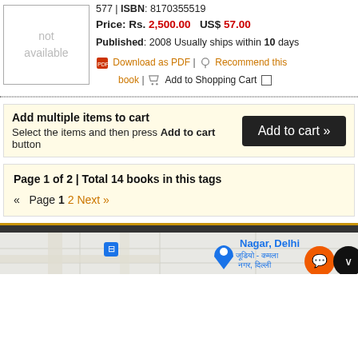[Figure (other): Book cover placeholder showing 'not available']
577 | ISBN: 8170355519
Price: Rs. 2,500.00   US$ 57.00
Published: 2008 Usually ships within 10 days
Download as PDF | Recommend this book | Add to Shopping Cart
Add multiple items to cart
Select the items and then press Add to cart button
Page 1 of 2 | Total 14 books in this tags
« Page 1 2 Next »
[Figure (map): Google Maps view showing Nagar, Delhi area]